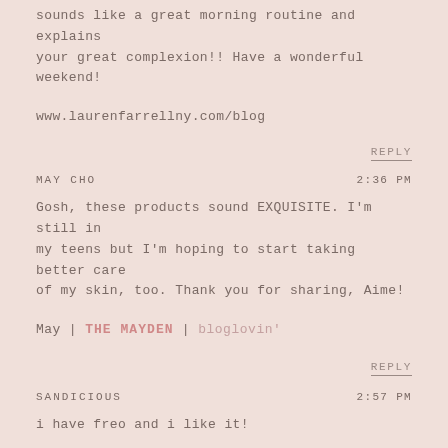sounds like a great morning routine and explains your great complexion!! Have a wonderful weekend!
www.laurenfarrellny.com/blog
REPLY
MAY CHO   2:36 PM
Gosh, these products sound EXQUISITE. I'm still in my teens but I'm hoping to start taking better care of my skin, too. Thank you for sharing, Aime!
May | THE MAYDEN | bloglovin'
REPLY
SANDICIOUS   2:57 PM
i have freo and i like it!